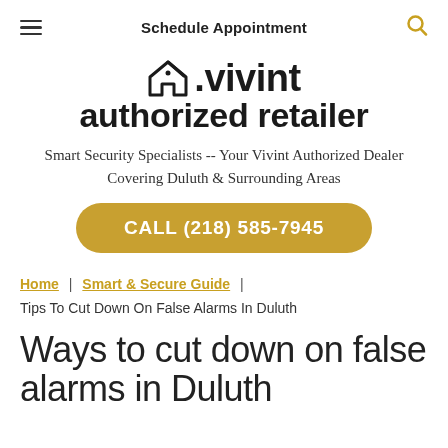Schedule Appointment
[Figure (logo): Vivint authorized retailer logo with house icon]
Smart Security Specialists -- Your Vivint Authorized Dealer Covering Duluth & Surrounding Areas
CALL (218) 585-7945
Home | Smart & Secure Guide | Tips To Cut Down On False Alarms In Duluth
Ways to cut down on false alarms in Duluth